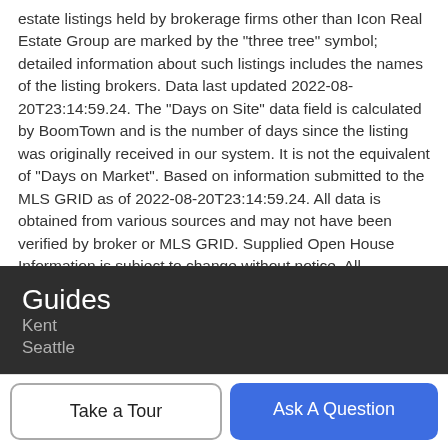estate listings held by brokerage firms other than Icon Real Estate Group are marked by the "three tree" symbol; detailed information about such listings includes the names of the listing brokers. Data last updated 2022-08-20T23:14:59.24. The "Days on Site" data field is calculated by BoomTown and is the number of days since the listing was originally received in our system. It is not the equivalent of "Days on Market". Based on information submitted to the MLS GRID as of 2022-08-20T23:14:59.24. All data is obtained from various sources and may not have been verified by broker or MLS GRID. Supplied Open House Information is subject to change without notice. All information should be independently reviewed and verified for accuracy. Properties may or may not be listed by the office/agent presenting the information.
Guides
Kent
Seattle
Take a Tour
Ask A Question